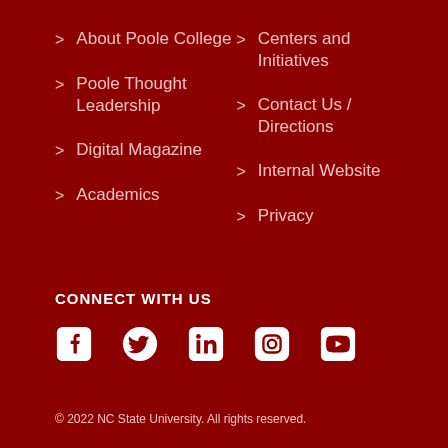> About Poole College
> Poole Thought Leadership
> Digital Magazine
> Academics
> Centers and Initiatives
> Contact Us / Directions
> Internal Website
> Privacy
CONNECT WITH US
[Figure (infographic): Social media icons: Facebook, Twitter, LinkedIn, Instagram, YouTube]
© 2022 NC State University. All rights reserved.